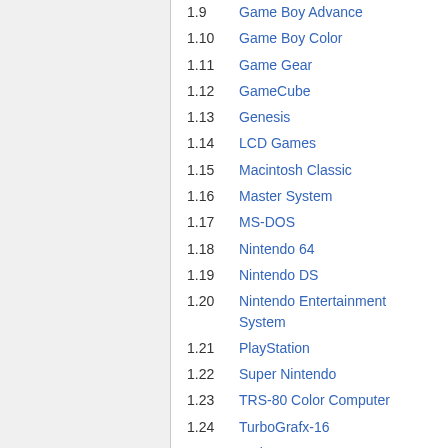1.9 Game Boy Advance
1.10 Game Boy Color
1.11 Game Gear
1.12 GameCube
1.13 Genesis
1.14 LCD Games
1.15 Macintosh Classic
1.16 Master System
1.17 MS-DOS
1.18 Nintendo 64
1.19 Nintendo DS
1.20 Nintendo Entertainment System
1.21 PlayStation
1.22 Super Nintendo
1.23 TRS-80 Color Computer
1.24 TurboGrafx-16
1.25 Web Games
1.26 Wii
1.27 Windows